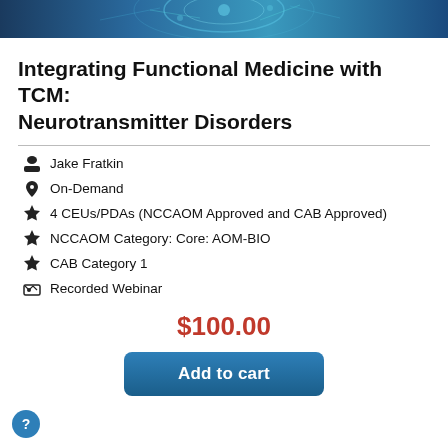[Figure (photo): Top banner image showing a neural/brain-related background image in blue tones]
Integrating Functional Medicine with TCM: Neurotransmitter Disorders
Jake Fratkin
On-Demand
4 CEUs/PDAs (NCCAOM Approved and CAB Approved)
NCCAOM Category: Core: AOM-BIO
CAB Category 1
Recorded Webinar
$100.00
Add to cart